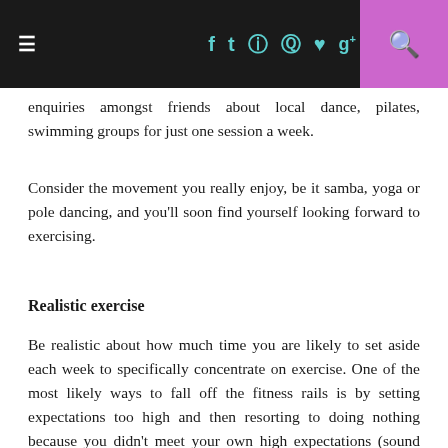≡  f  t  [camera]  [pinterest]  [heart]  g+  [search]
enquiries amongst friends about local dance, pilates, swimming groups for just one session a week.
Consider the movement you really enjoy, be it samba, yoga or pole dancing, and you'll soon find yourself looking forward to exercising.
Realistic exercise
Be realistic about how much time you are likely to set aside each week to specifically concentrate on exercise. One of the most likely ways to fall off the fitness rails is by setting expectations too high and then resorting to doing nothing because you didn't meet your own high expectations (sound familiar).
Remember, doing something is better than doing nothing. The keyword is consistency. If you steadily plug away at keeping...